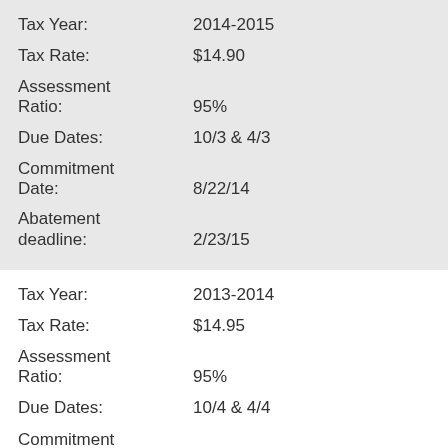Tax Year: 2014-2015
Tax Rate: $14.90
Assessment Ratio: 95%
Due Dates: 10/3 & 4/3
Commitment Date: 8/22/14
Abatement deadline: 2/23/15
Tax Year: 2013-2014
Tax Rate: $14.95
Assessment Ratio: 95%
Due Dates: 10/4 & 4/4
Commitment